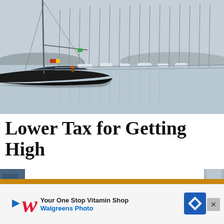[Figure (photo): A marina with many sailboats moored, their masts reflected in calm water. A dark-hulled sailboat is prominent in the foreground left.]
Lower Tax for Getting High
Oregon levies a 17 percent tax on marijuana. That's a good s…
[Figure (screenshot): Walgreens advertisement: 'Your One Stop Vitamin Shop' and 'Walgreens Photo' with a blue diamond navigation icon and an X close button.]